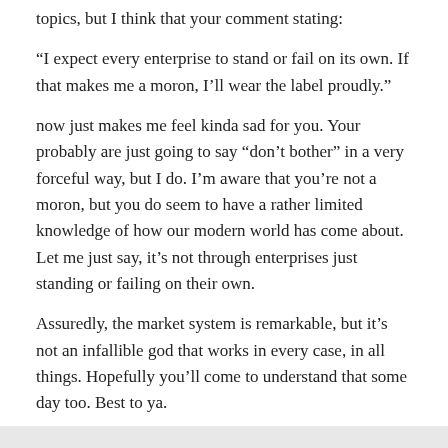topics, but I think that your comment stating:
“I expect every enterprise to stand or fail on its own. If that makes me a moron, I’ll wear the label proudly.”
now just makes me feel kinda sad for you. Your probably are just going to say “don’t bother” in a very forceful way, but I do. I’m aware that you’re not a moron, but you do seem to have a rather limited knowledge of how our modern world has come about. Let me just say, it’s not through enterprises just standing or failing on their own.
Assuredly, the market system is remarkable, but it’s not an infallible god that works in every case, in all things. Hopefully you’ll come to understand that some day too. Best to ya.